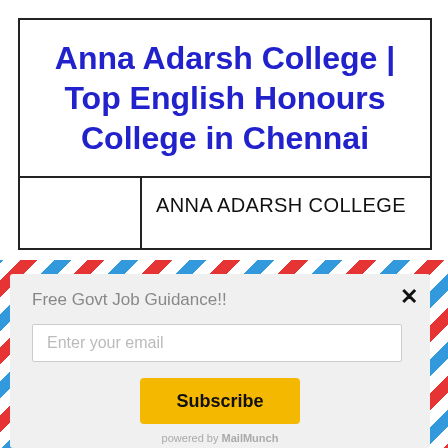Anna Adarsh College | Top English Honours College in Chennai
ANNA ADARSH COLLEGE
Free Govt Job Guidance!!
Enter your email
Subscribe
powered by MailMunch